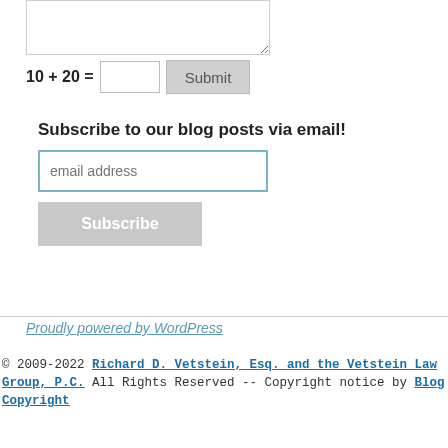10 + 20 = [input] [Submit]
Subscribe to our blog posts via email!
email address [input field]
Subscribe [button]
Proudly powered by WordPress
© 2009-2022 Richard D. Vetstein, Esq. and the Vetstein Law Group, P.C. All Rights Reserved -- Copyright notice by Blog Copyright